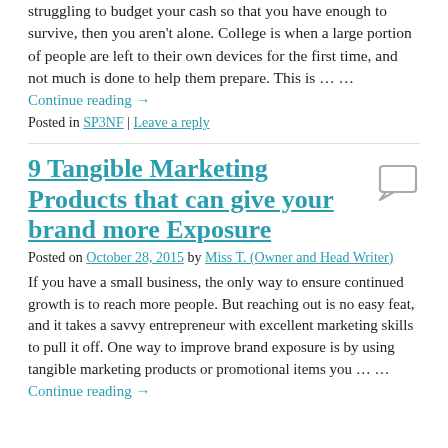struggling to budget your cash so that you have enough to survive, then you aren't alone. College is when a large portion of people are left to their own devices for the first time, and not much is done to help them prepare. This is … …
Continue reading →
Posted in SP3NF | Leave a reply
9 Tangible Marketing Products that can give your brand more Exposure
Posted on October 28, 2015 by Miss T. (Owner and Head Writer)
If you have a small business, the only way to ensure continued growth is to reach more people. But reaching out is no easy feat, and it takes a savvy entrepreneur with excellent marketing skills to pull it off. One way to improve brand exposure is by using tangible marketing products or promotional items you … …
Continue reading →